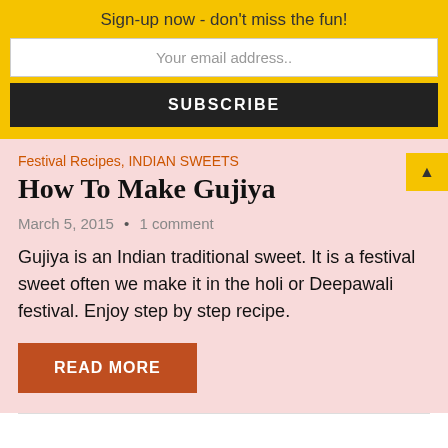Sign-up now - don't miss the fun!
Your email address..
SUBSCRIBE
Festival Recipes, INDIAN SWEETS
How To Make Gujiya
March 5, 2015  •  1 comment
Gujiya is an Indian traditional sweet. It is a festival sweet often we make it in the holi or Deepawali festival. Enjoy step by step recipe.
READ MORE